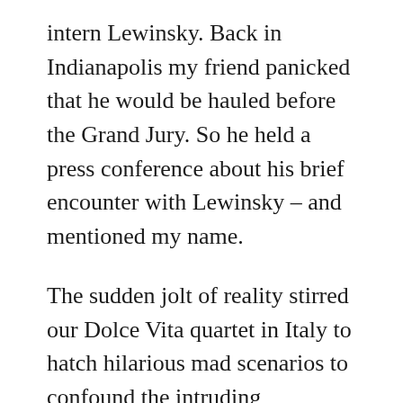intern Lewinsky. Back in Indianapolis my friend panicked that he would be hauled before the Grand Jury. So he held a press conference about his brief encounter with Lewinsky – and mentioned my name.
The sudden jolt of reality stirred our Dolce Vita quartet in Italy to hatch hilarious mad scenarios to confound the intruding journalist. When the call came, Rocco answered. “Prrrronto! Si? Si? Sorry. No Inglese! Ciao!”
Che finito, we returned to our intermezzo